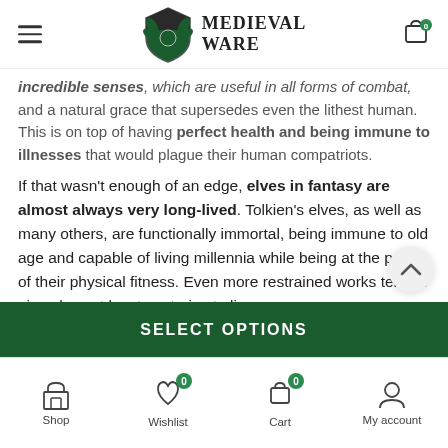Medieval Ware
incredible senses, which are useful in all forms of combat, and a natural grace that supersedes even the lithest human. This is on top of having perfect health and being immune to illnesses that would plague their human compatriots.
If that wasn't enough of an edge, elves in fantasy are almost always very long-lived. Tolkien's elves, as well as many others, are functionally immortal, being immune to old age and capable of living millennia while being at the peak of their physical fitness. Even more restrained works tend to give elves at least centuries to live.
SELECT OPTIONS
Shop Wishlist Cart My account